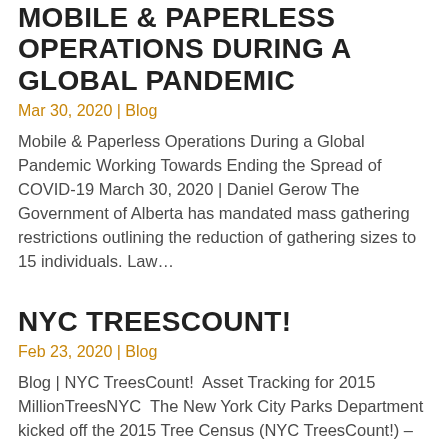MOBILE & PAPERLESS OPERATIONS DURING A GLOBAL PANDEMIC
Mar 30, 2020 | Blog
Mobile & Paperless Operations During a Global Pandemic Working Towards Ending the Spread of COVID-19 March 30, 2020 | Daniel Gerow The Government of Alberta has mandated mass gathering restrictions outlining the reduction of gathering sizes to 15 individuals. Law…
NYC TREESCOUNT!
Feb 23, 2020 | Blog
Blog | NYC TreesCount!  Asset Tracking for 2015 MillionTreesNYC  The New York City Parks Department kicked off the 2015 Tree Census (NYC TreesCount!) – the first official count of the city's green residents in three decades. On May